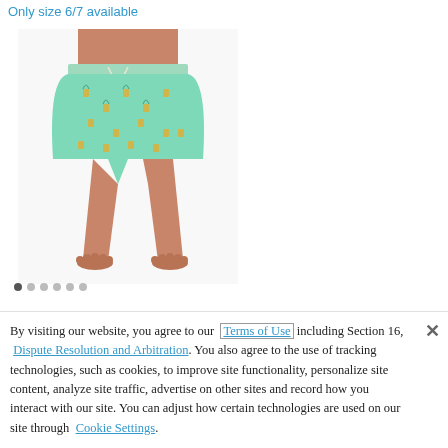Only size 6/7 available
[Figure (photo): Child model wearing mint green board shorts with pineapple print, standing barefoot showing full length from waist down]
By visiting our website, you agree to our Terms of Use including Section 16, Dispute Resolution and Arbitration. You also agree to the use of tracking technologies, such as cookies, to improve site functionality, personalize site content, analyze site traffic, advertise on other sites and record how you interact with our site. You can adjust how certain technologies are used on our site through Cookie Settings.